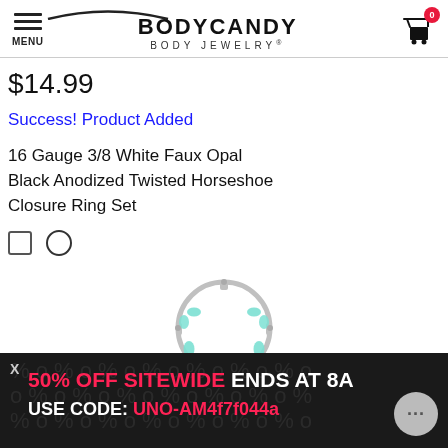MENU | BODYCANDY BODY JEWELRY | Cart (0)
$14.99
Success! Product Added
16 Gauge 3/8 White Faux Opal Black Anodized Twisted Horseshoe Closure Ring Set
[Figure (photo): Silver horseshoe closure ring with teal/aqua faux opal gemstone accents, arranged in a circular form on white background]
50% OFF SITEWIDE ENDS AT 8A USE CODE: UNO-AM4f7f044a